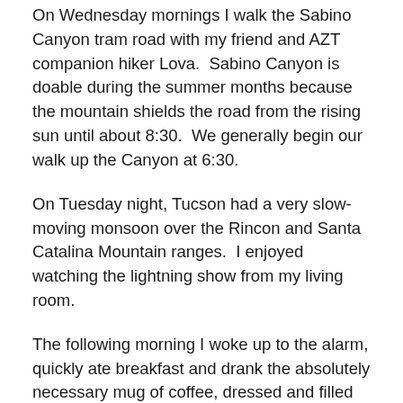On Wednesday mornings I walk the Sabino Canyon tram road with my friend and AZT companion hiker Lova.  Sabino Canyon is doable during the summer months because the mountain shields the road from the rising sun until about 8:30.  We generally begin our walk up the Canyon at 6:30.
On Tuesday night, Tucson had a very slow-moving monsoon over the Rincon and Santa Catalina Mountain ranges.  I enjoyed watching the lightning show from my living room.
The following morning I woke up to the alarm, quickly ate breakfast and drank the absolutely necessary mug of coffee, dressed and filled my hydration bladder.  The sky looked a little dark, as though it may rain, but since I hadn't heard otherwise from Lova, I drove to Sabino